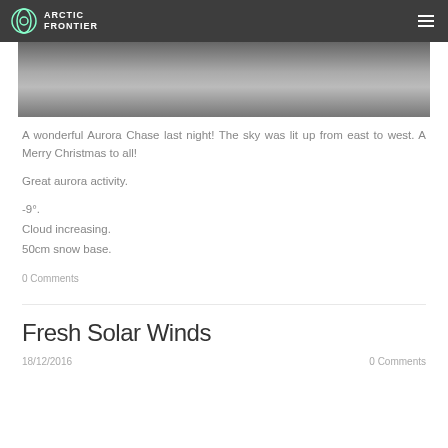ARCTIC FRONTIER
[Figure (photo): Snowy outdoor scene with dark metal structure, people and snow visible]
A wonderful Aurora Chase last night! The sky was lit up from east to west. A Merry Christmas to all!
Great aurora activity.
-9°.
Cloud increasing.
50cm snow base.
0 Comments
Fresh Solar Winds
18/12/2016   0 Comments